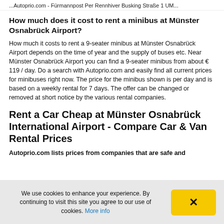... Autoprio.com - Fürmannpost Per Rennhiver Busking Straße 1 UM...
How much does it cost to rent a minibus at Münster Osnabrück Airport?
How much it costs to rent a 9-seater minibus at Münster Osnabrück Airport depends on the time of year and the supply of buses etc. Near Münster Osnabrück Airport you can find a 9-seater minibus from about € 119 / day. Do a search with Autoprio.com and easily find all current prices for minibuses right now. The price for the minibus shown is per day and is based on a weekly rental for 7 days. The offer can be changed or removed at short notice by the various rental companies.
Rent a Car Cheap at Münster Osnabrück International Airport - Compare Car & Van Rental Prices
Autoprio.com lists prices from companies that are safe and
We use cookies to enhance your experience. By continuing to visit this site you agree to our use of cookies. More info